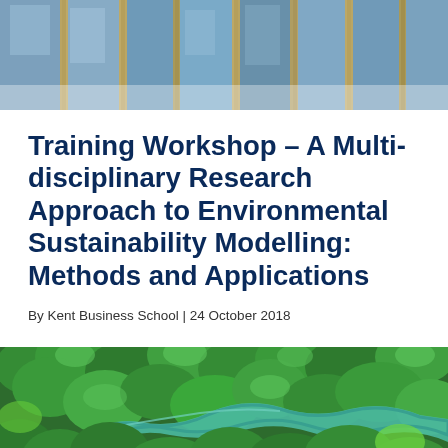[Figure (photo): Top banner photo showing interior of a building with glass windows and vertical architectural elements in blue-gray tones]
Training Workshop – A Multi-disciplinary Research Approach to Environmental Sustainability Modelling: Methods and Applications
By Kent Business School | 24 October 2018
[Figure (photo): Aerial photograph of a lush green forest with a winding river or stream cutting through the trees]